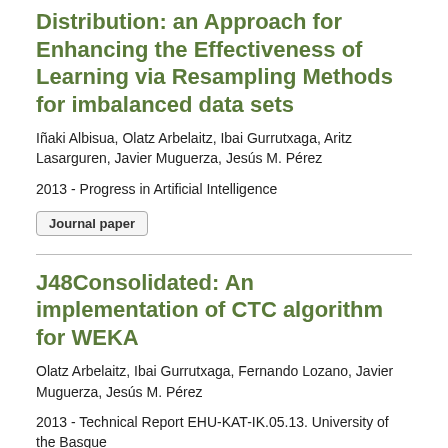Distribution: an Approach for Enhancing the Effectiveness of Learning via Resampling Methods for imbalanced data sets
Iñaki Albisua, Olatz Arbelaitz, Ibai Gurrutxaga, Aritz Lasarguren, Javier Muguerza, Jesús M. Pérez
2013 - Progress in Artificial Intelligence
Journal paper
J48Consolidated: An implementation of CTC algorithm for WEKA
Olatz Arbelaitz, Ibai Gurrutxaga, Fernando Lozano, Javier Muguerza, Jesús M. Pérez
2013 - Technical Report EHU-KAT-IK.05.13. University of the Basque